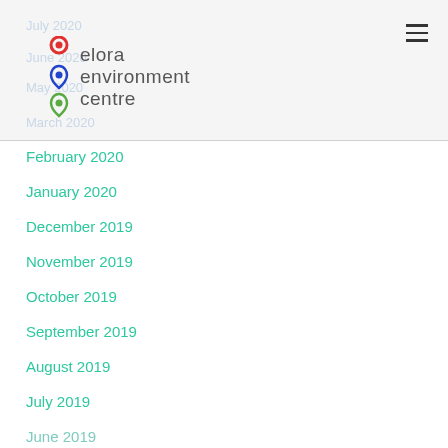July 2020
June 2020
May 2020
March 2020
[Figure (logo): Elora Environment Centre logo with three colored map pin icons (red, blue, green) and the text 'elora environment centre']
February 2020
January 2020
December 2019
November 2019
October 2019
September 2019
August 2019
July 2019
June 2019